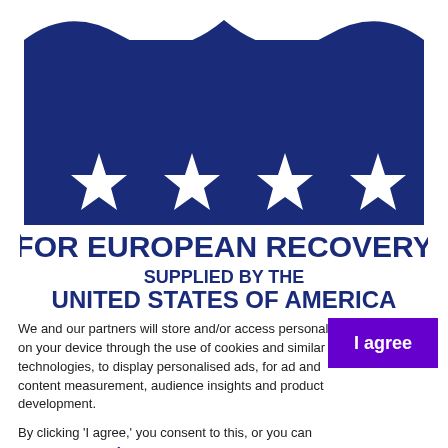[Figure (logo): Marshall Plan logo: dark navy blue emblem with wave/arch shape at top, four white stars in a row, bold text 'FOR EUROPEAN RECOVERY' and 'SUPPLIED BY THE UNITED STATES OF AMERICA']
We and our partners will store and/or access personal data on your device through the use of cookies and similar technologies, to display personalised ads, for ad and content measurement, audience insights and product development.

By clicking 'I agree,' you consent to this, or you can manage your preferences.